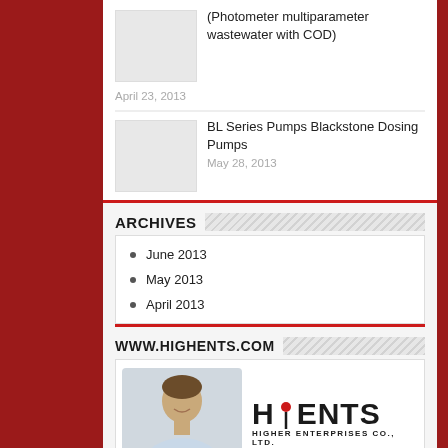(Photometer multiparameter wastewater with COD)
April 23, 2013
BL Series Pumps Blackstone Dosing Pumps
May 28, 2013
ARCHIVES
June 2013
May 2013
April 2013
WWW.HIGHENTS.COM
[Figure (logo): Highents logo with person silhouette and HiENTS Higher Enterprises Co., Ltd. branding]